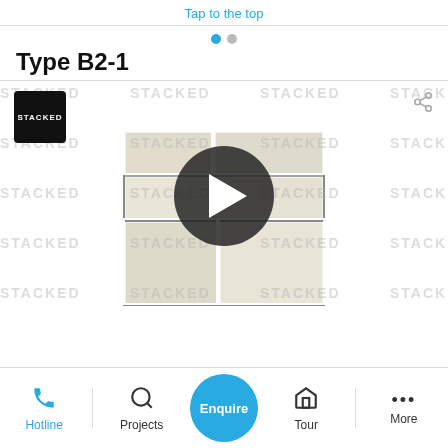Tap to the top
Type B2-1
[Figure (screenshot): 3D floorplan rendering of Type B2-1 apartment with watermark 'STACKED' repeated across the image. A circular dark play button overlay is centered on the image. A black square logo with 'STACKED' text is in the top-left. A share icon is in the top-right.]
Hotline  Projects  Enquire  Tour  More